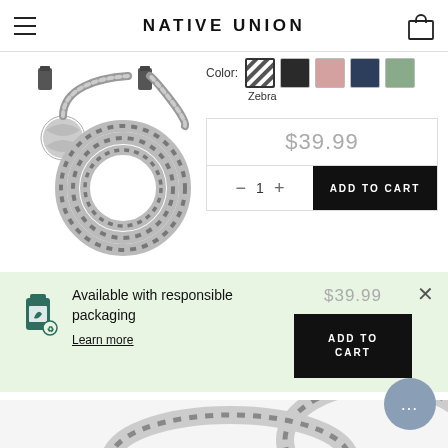NATIVE UNION
[Figure (photo): Coiled braided USB charging cable in zebra pattern with knot end]
Color: Zebra
$39.99
— 1 + ADD TO CART
[Figure (infographic): Green banner: Available with responsible packaging. Learn more. $39.99 ADD TO CART button. Close X button. Eco packaging icon.]
[Figure (photo): Close-up detail of braided zebra cable texture]